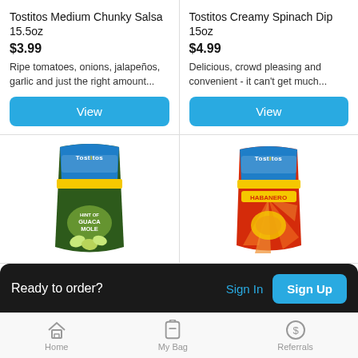Tostitos Medium Chunky Salsa 15.5oz
$3.99
Ripe tomatoes, onions, jalapeños, garlic and just the right amount...
View
Tostitos Creamy Spinach Dip 15oz
$4.99
Delicious, crowd pleasing and convenient - it can't get much...
View
[Figure (photo): Tostitos Hint of Guacamole chip bag, blue top with green lower half]
[Figure (photo): Tostitos Habanero chip bag, blue top with red/orange lower half]
Tosti... Hint of G... la Bite
Tostito... Hab... Bite Si
Ready to order?
Sign In
Sign Up
Home
My Bag
Referrals